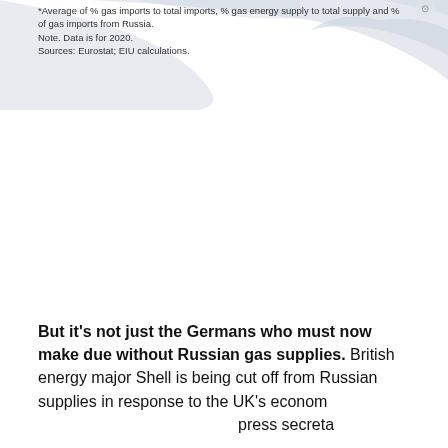[Figure (map): Partial map of Europe showing geographic outlines in light grey/blue tones, cropped at top of page]
*Average of % gas imports to total imports, % gas energy supply to total supply and % of gas imports from Russia.
Note. Data is for 2020.
Sources: Eurostat; EIU calculations.
But it's not just the Germans who must now make due without Russian gas supplies. British energy major Shell is being cut off from Russian supplies in response to the UK's econom                                                                                press secreta